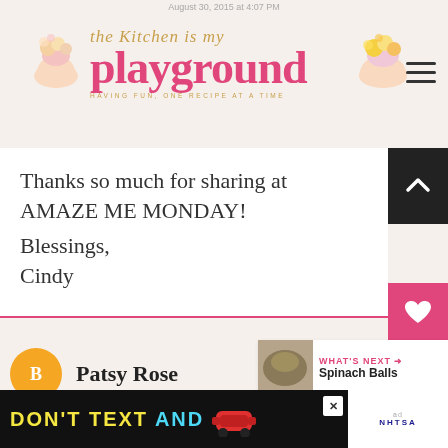August 30, 2015 at 4:07 PM
[Figure (logo): The Kitchen is my Playground blog logo with cupcakes, pink script and gold cursive text, tagline: HAVING FUN, ONE RECIPE AT A TIME]
Thanks so much for sharing at AMAZE ME MONDAY!
Blessings,
Cindy
Patsy Rose
January 30, 2016 at 5:41 AM
I love to entertain my friends! A good pot
[Figure (infographic): NHTSA advertisement banner: DON'T TEXT AND [drive] with red car emoji, ad tag, close button]
[Figure (infographic): WHAT'S NEXT arrow with Spinach Balls thumbnail]